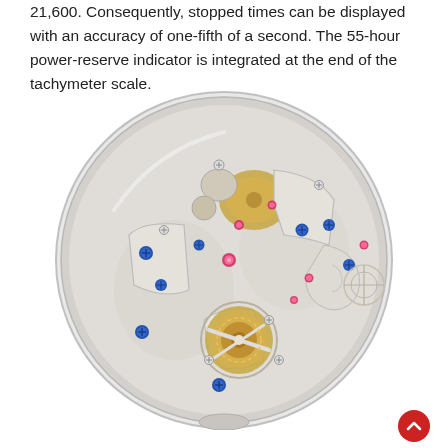21,600. Consequently, stopped times can be displayed with an accuracy of one-fifth of a second. The 55-hour power-reserve indicator is integrated at the end of the tachymeter scale.
[Figure (photo): Close-up photograph of the back of a mechanical watch movement (caliber), showing intricate gears, bridges, tourbillon cage, blue screws, ruby jewels, and gold-colored components on a silver/white base plate. The movement is circular and highly detailed.]